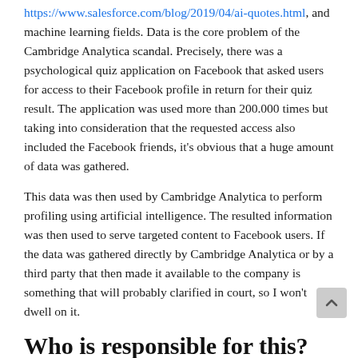https://www.salesforce.com/blog/2019/04/ai-quotes.html, and machine learning fields. Data is the core problem of the Cambridge Analytica scandal. Precisely, there was a psychological quiz application on Facebook that asked users for access to their Facebook profile in return for their quiz result. The application was used more than 200.000 times but taking into consideration that the requested access also included the Facebook friends, it's obvious that a huge amount of data was gathered.
This data was then used by Cambridge Analytica to perform profiling using artificial intelligence. The resulted information was then used to serve targeted content to Facebook users. If the data was gathered directly by Cambridge Analytica or by a third party that then made it available to the company is something that will probably clarified in court, so I won't dwell on it.
Who is responsible for this?
A lot of people – including journalists, researchers, security